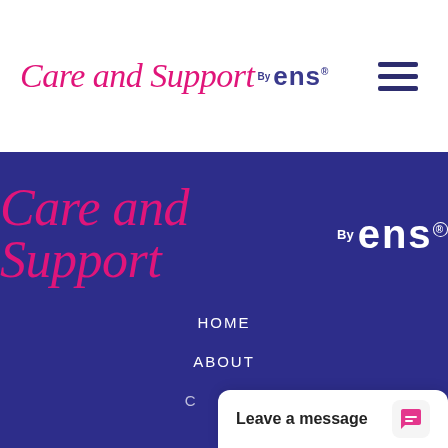[Figure (logo): Care and Support by ens logo in pink cursive and dark blue sans-serif, top navigation bar with hamburger menu]
[Figure (logo): Care and Support by ens logo large in pink cursive and white sans-serif on dark blue background, navigation panel with HOME, ABOUT menu items and Leave a message chat popup]